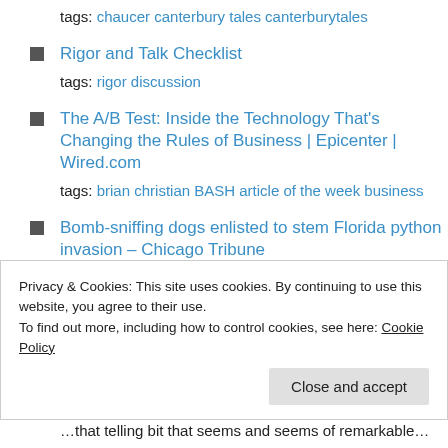tags: chaucer canterbury tales canterburytales
Rigor and Talk Checklist
tags: rigor discussion
The A/B Test: Inside the Technology That's Changing the Rules of Business | Epicenter | Wired.com
tags: brian christian BASH article of the week business
Bomb-sniffing dogs enlisted to stem Florida python invasion – Chicago Tribune
Privacy & Cookies: This site uses cookies. By continuing to use this website, you agree to their use. To find out more, including how to control cookies, see here: Cookie Policy
Close and accept